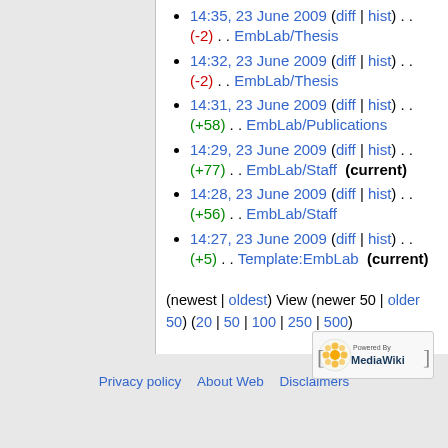14:35, 23 June 2009 (diff | hist) . . (-2) . . EmbLab/Thesis
14:32, 23 June 2009 (diff | hist) . . (-2) . . EmbLab/Thesis
14:31, 23 June 2009 (diff | hist) . . (+58) . . EmbLab/Publications
14:29, 23 June 2009 (diff | hist) . . (+77) . . EmbLab/Staff (current)
14:28, 23 June 2009 (diff | hist) . . (+56) . . EmbLab/Staff
14:27, 23 June 2009 (diff | hist) . . (+5) . . Template:EmbLab (current)
(newest | oldest) View (newer 50 | older 50) (20 | 50 | 100 | 250 | 500)
Privacy policy   About Web   Disclaimers